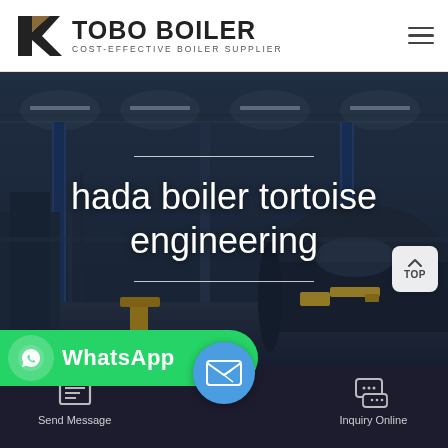TOBO BOILER — COST-EFFECTIVE BOILER SUPPLIER
[Figure (photo): Industrial boiler manufacturing facility interior with large boiler drums, overhead crane, blue structural columns, and robotic welding equipment. Dimly lit warehouse setting.]
hada boiler tortoise engineering
WhatsApp
Send Message
Inquiry Online